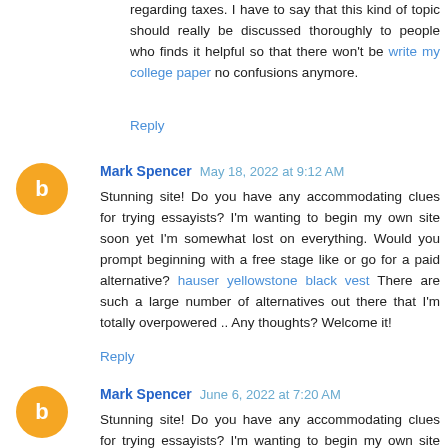regarding taxes. I have to say that this kind of topic should really be discussed thoroughly to people who finds it helpful so that there won't be write my college paper no confusions anymore.
Reply
Mark Spencer  May 18, 2022 at 9:12 AM
Stunning site! Do you have any accommodating clues for trying essayists? I'm wanting to begin my own site soon yet I'm somewhat lost on everything. Would you prompt beginning with a free stage like or go for a paid alternative? hauser yellowstone black vest There are such a large number of alternatives out there that I'm totally overpowered .. Any thoughts? Welcome it!
Reply
Mark Spencer  June 6, 2022 at 7:20 AM
Stunning site! Do you have any accommodating clues for trying essayists? I'm wanting to begin my own site soon yet